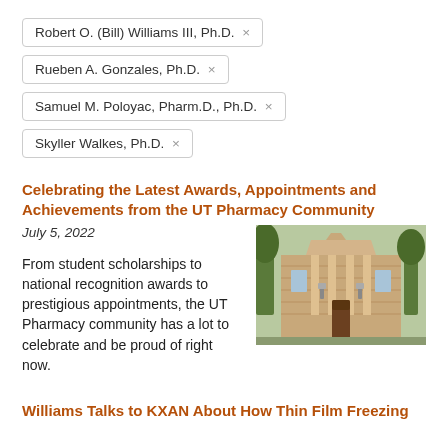Robert O. (Bill) Williams III, Ph.D. ×
Rueben A. Gonzales, Ph.D. ×
Samuel M. Poloyac, Pharm.D., Ph.D. ×
Skyller Walkes, Ph.D. ×
Celebrating the Latest Awards, Appointments and Achievements from the UT Pharmacy Community
July 5, 2022
[Figure (photo): Exterior photograph of a brick university building with classical architecture, columns, and ornate entrance, surrounded by trees]
From student scholarships to national recognition awards to prestigious appointments, the UT Pharmacy community has a lot to celebrate and be proud of right now.
Williams Talks to KXAN About How Thin Film Freezing